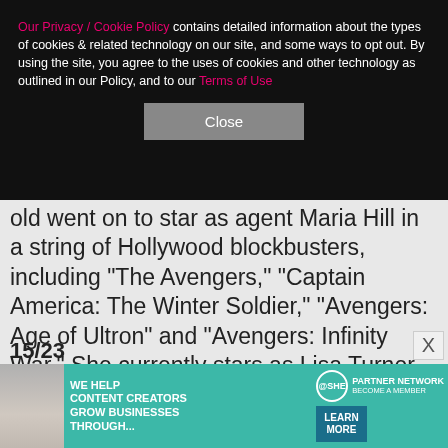Our Privacy / Cookie Policy contains detailed information about the types of cookies & related technology on our site, and some ways to opt out. By using the site, you agree to the uses of cookies and other technology as outlined in our Policy, and to our Terms of Use
Close
old went on to star as agent Maria Hill in a string of Hollywood blockbusters, including "The Avengers," "Captain America: The Winter Soldier," "Avengers: Age of Ultron" and "Avengers: Infinity War." She currently stars as Lisa Turner in the Netflix series "Friends from College," and will reprise her role as Maria in 2019's "Avengers: Endgame." Cobie shares two daughters, Shaelyn and Joelle, with her husband of seven years, Taran Killam.
15/23
[Figure (infographic): Advertisement banner for SHE Media Partner Network with teal background, a photo of a woman, text 'WE HELP CONTENT CREATORS GROW BUSINESSES THROUGH...' and a 'LEARN MORE' button]